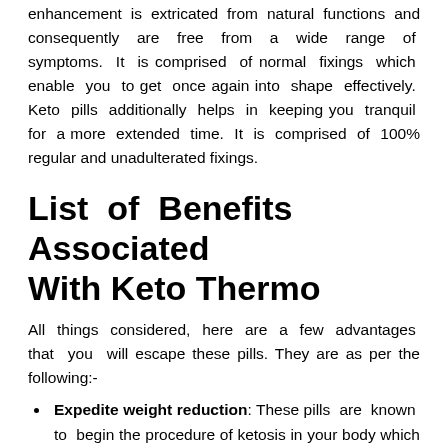enhancement is extricated from natural functions and consequently are free from a wide range of symptoms. It is comprised of normal fixings which enable you to get once again into shape effectively. Keto pills additionally helps in keeping you tranquil for a more extended time. It is comprised of 100% regular and unadulterated fixings.
List of Benefits Associated With Keto Thermo
All things considered, here are a few advantages that you will escape these pills. They are as per the following:-
Expedite weight reduction: These pills are known to begin the procedure of ketosis in your body which will help you in consuming all the obstinate fats that are available in your body. Every one of these fats doesn't go squander; it helps in the typical working of your body.
Aides in decreasing your hunger: Expanding legitimate measure of sustenance is imperative while you are on any sort of eating routine. Nourishment desires are something